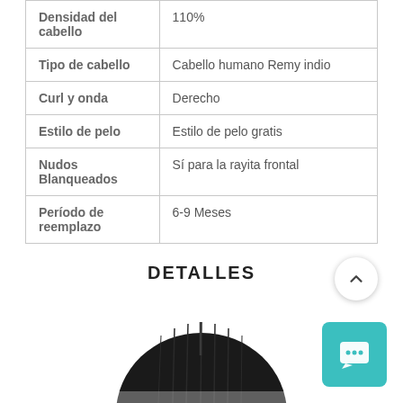| Atributo | Valor |
| --- | --- |
| Densidad del cabello | 110% |
| Tipo de cabello | Cabello humano Remy indio |
| Curl y onda | Derecho |
| Estilo de pelo | Estilo de pelo gratis |
| Nudos Blanqueados | Sí para la rayita frontal |
| Período de reemplazo | 6-9 Meses |
DETALLES
[Figure (photo): Top of a dark-haired wig/hairpiece with straight black hair, showing the hairline and parting area from above.]